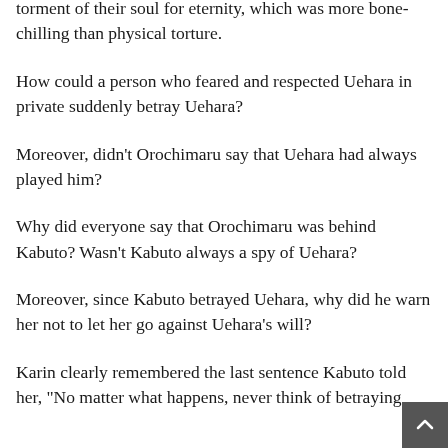torment of their soul for eternity, which was more bone-chilling than physical torture.
How could a person who feared and respected Uehara in private suddenly betray Uehara?
Moreover, didn't Orochimaru say that Uehara had always played him?
Why did everyone say that Orochimaru was behind Kabuto? Wasn't Kabuto always a spy of Uehara?
Moreover, since Kabuto betrayed Uehara, why did he warn her not to let her go against Uehara's will?
Karin clearly remembered the last sentence Kabuto told her, "No matter what happens, never think of betraying